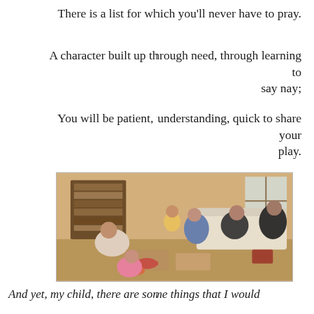There is a list for which you'll never have to pray.
A character built up through need, through learning to say nay;
You will be patient, understanding, quick to share your play.
[Figure (photo): A group of people, adults and children, gathered in a living room setting, seemingly at a social gathering or party, with furniture, a bookshelf in the background, and various items scattered around.]
And yet, my child, there are some things that I would